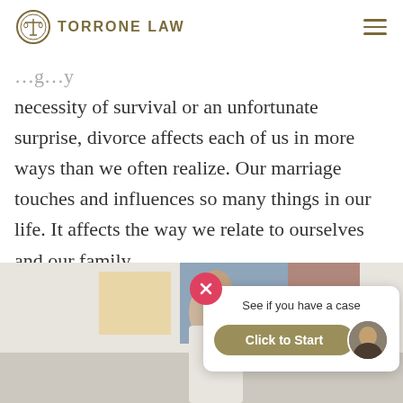TORRONE LAW
necessity of survival or an unfortunate surprise, divorce affects each of us in more ways than we often realize. Our marriage touches and influences so many things in our life. It affects the way we relate to ourselves and our family,...
[Figure (photo): Two people sitting together, partially visible; a couple in consultation setting]
See if you have a case
Click to Start